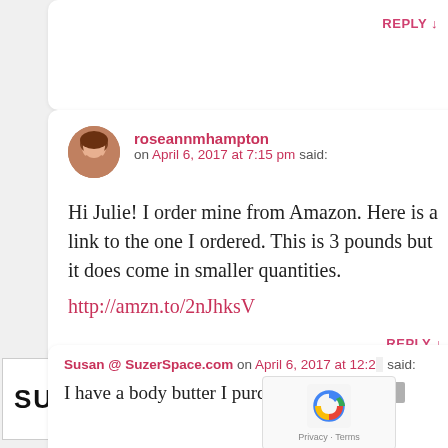REPLY ↓
[Figure (photo): Avatar photo of roseannmhampton, a woman with brown hair]
roseannmhampton on April 6, 2017 at 7:15 pm said:
Hi Julie! I order mine from Amazon. Here is a link to the one I ordered. This is 3 pounds but it does come in smaller quantities.
http://amzn.to/2nJhksV
REPLY ↓
[Figure (logo): SUZER logo in bold black letters on white background with border]
Susan @ SuzerSpace.com on April 6, 2017 at 12:2... said:
I have a body butter I purchased from a ...
[Figure (other): reCAPTCHA widget showing Privacy - Terms]